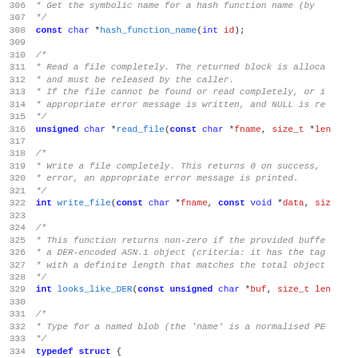[Figure (screenshot): Source code listing in C, lines 306-338, showing function declarations for hash_function_name, read_file, write_file, looks_like_DER, and a typedef struct for pem_object. Line numbers shown in grey, keywords in blue bold, function names and types in blue, parameters/types in red.]